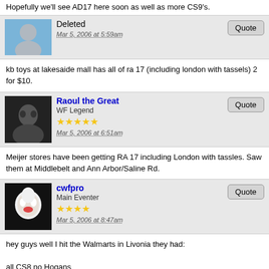Hopefully we'll see AD17 here soon as well as more CS9's.
Deleted
Mar 5, 2006 at 5:59am
kb toys at lakesaide mall has all of ra 17 (including london with tassels) 2 for $10.
Raoul the Great
WF Legend
Mar 5, 2006 at 6:51am
Meijer stores have been getting RA 17 including London with tassles. Saw them at Middlebelt and Ann Arbor/Saline Rd.
cwfpro
Main Eventer
Mar 5, 2006 at 8:47am
hey guys well I hit the Walmarts in Livonia they had:

all CS8 no Hogans
CS9 BAM BAM.. poor Bam Bam.. will some one please buy him
AD17 a big CRAP LOAD! they had at least 5 of each-
Cena vs Anglo w/ new wwe title